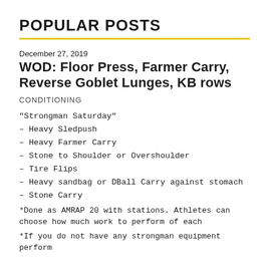POPULAR POSTS
December 27, 2019
WOD: Floor Press, Farmer Carry, Reverse Goblet Lunges, KB rows
CONDITIONING
"Strongman Saturday"
– Heavy Sledpush
– Heavy Farmer Carry
– Stone to Shoulder or Overshoulder
– Tire Flips
– Heavy sandbag or DBall Carry against stomach
– Stone Carry
*Done as AMRAP 20 with stations. Athletes can choose how much work to perform of each
*If you do not have any strongman equipment perform